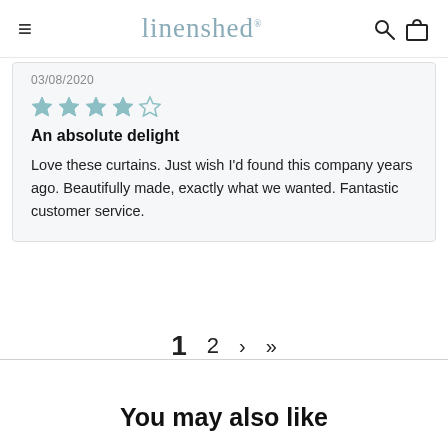linenshed
03/08/2020
★★★★☆ (4 out of 5 stars)
An absolute delight
Love these curtains. Just wish I'd found this company years ago. Beautifully made, exactly what we wanted. Fantastic customer service.
1  2  ›  »
You may also like